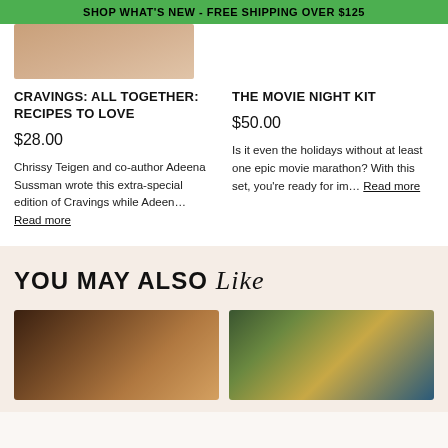SHOP WHAT'S NEW - FREE SHIPPING OVER $125
[Figure (photo): Partial product image top left]
CRAVINGS: ALL TOGETHER: RECIPES TO LOVE
$28.00
Chrissy Teigen and co-author Adeena Sussman wrote this extra-special edition of Cravings while Adeen... Read more
THE MOVIE NIGHT KIT
$50.00
Is it even the holidays without at least one epic movie marathon? With this set, you're ready for im... Read more
YOU MAY ALSO Like
[Figure (photo): Bottom left product photo showing tray with items]
[Figure (photo): Bottom right product photo showing food items in bowls]